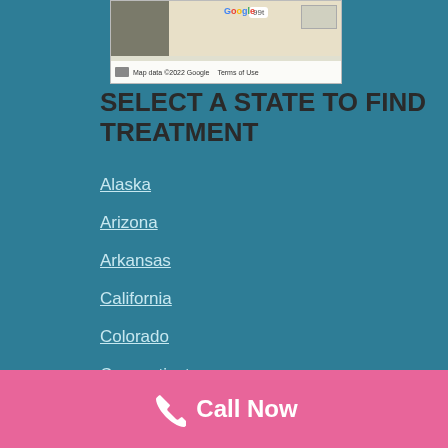[Figure (map): Google Maps screenshot showing a road map with aerial imagery on the left, route 213 marker, and map footer with 'Map data ©2022 Google' and 'Terms of Use']
SELECT A STATE TO FIND TREATMENT
Alaska
Arizona
Arkansas
California
Colorado
Connecticut
Delaware
Florida
Georgia
Call Now